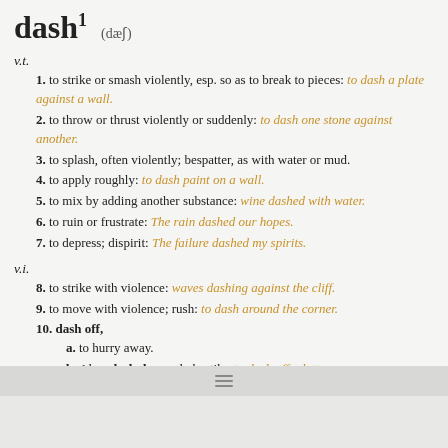dash¹ (dæʃ)
v.t.
1. to strike or smash violently, esp. so as to break to pieces: to dash a plate against a wall.
2. to throw or thrust violently or suddenly: to dash one stone against another.
3. to splash, often violently; bespatter, as with water or mud.
4. to apply roughly: to dash paint on a wall.
5. to mix by adding another substance: wine dashed with water.
6. to ruin or frustrate: The rain dashed our hopes.
7. to depress; dispirit: The failure dashed my spirits.
v.i.
8. to strike with violence: waves dashing against the cliff.
9. to move with violence; rush: to dash around the corner.
10. dash off, a. to hurry away. b. Also, dash down. do hastily: to dash off a letter.
n.